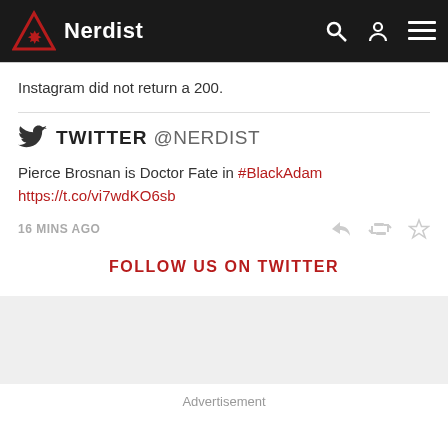Nerdist
Instagram did not return a 200.
TWITTER @NERDIST
Pierce Brosnan is Doctor Fate in #BlackAdam https://t.co/vi7wdKO6sb
16 MINS AGO
FOLLOW US ON TWITTER
Advertisement